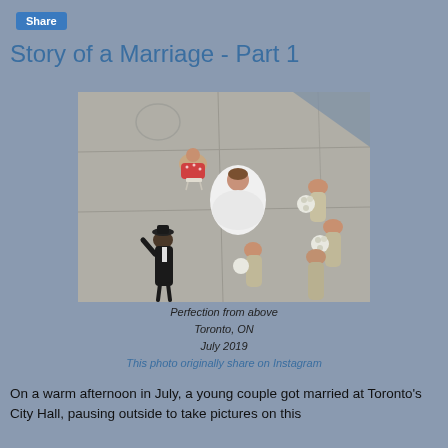Share
Story of a Marriage - Part 1
[Figure (photo): Aerial/overhead view of a wedding party outside Toronto City Hall. A bride in a white dress is visible, surrounded by bridesmaids in tan/beige gowns holding white floral bouquets. A groom in black suit stands to the left. Another woman in a patterned red dress sits nearby. The photo is taken from directly above on a concrete plaza.]
Perfection from above
Toronto, ON
July 2019
This photo originally share on Instagram
On a warm afternoon in July, a young couple got married at Toronto's City Hall, pausing outside to take pictures on this